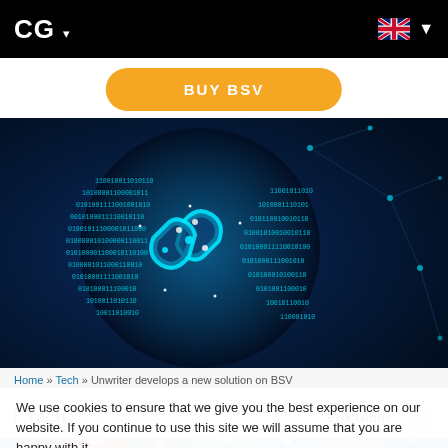CG ▾
BUY BSV
[Figure (illustration): A glowing digital sphere made of binary code (0s and 1s) with a blockchain chain link icon in the center, set against a dark blue background with network nodes and lines]
Home » Tech » Unwriter develops a new solution on BSV
We use cookies to ensure that we give you the best experience on our website. If you continue to use this site we will assume that you are happy with it.
Ok
| TECH   24 APRIL 20...   Erik Gibbs